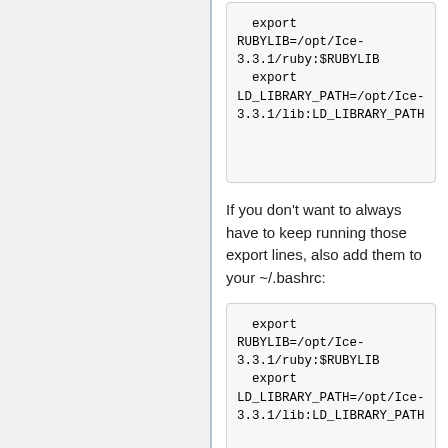export RUBYLIB=/opt/Ice-3.3.1/ruby:$RUBYLIB
  export LD_LIBRARY_PATH=/opt/Ice-3.3.1/lib:LD_LIBRARY_PATH
If you don't want to always have to keep running those export lines, also add them to your ~/.bashrc:
export RUBYLIB=/opt/Ice-3.3.1/ruby:$RUBYLIB
  export LD_LIBRARY_PATH=/opt/Ice-3.3.1/lib:LD_LIBRARY_PATH
4. At this point, Ice should be